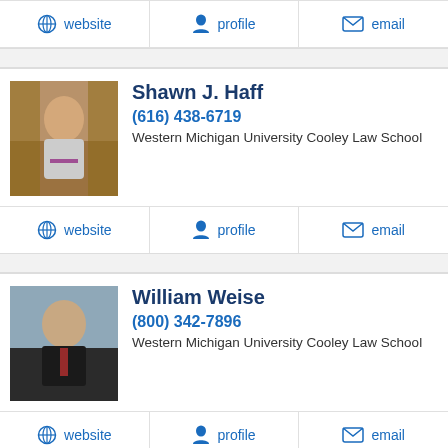website | profile | email (action bar top)
Shawn J. Haff
(616) 438-6719
Western Michigan University Cooley Law School
website | profile | email
William Weise
(800) 342-7896
Western Michigan University Cooley Law School
website | profile | email